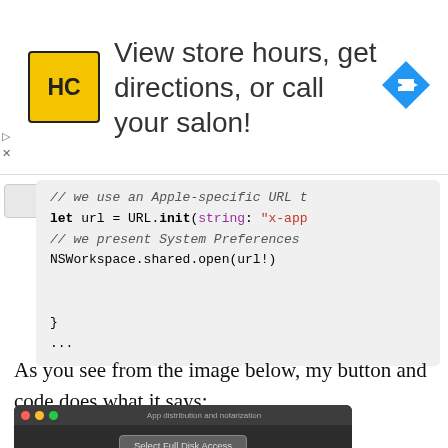[Figure (infographic): Advertisement banner: HC logo (yellow square with HC text), text 'View store hours, get directions, or call your salon!' and a blue diamond navigation arrow icon on the right]
[Figure (screenshot): Code block showing Swift code snippet with collapsed section arrow, lines: '// we use an Apple-specific URL t', 'let url = URL.init(string: "x-app', '// we present System Preferences', 'NSWorkspace.shared.open(url!)', '}', '...']
As you see from the image below, my button and code does what it says:
[Figure (screenshot): macOS window titled 'App distribution and notarization' with a dark background showing a 'Select Full Disk Access' button]